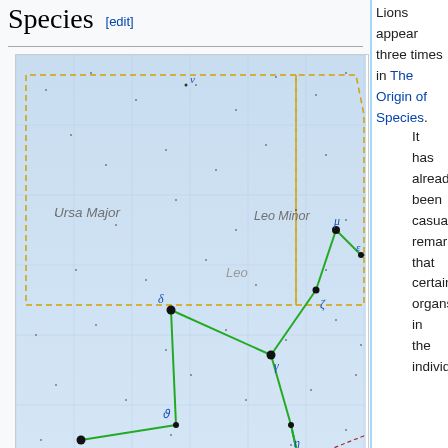Species [edit]
[Figure (illustration): Star map showing the constellation Leo with labeled stars including Regulus, Denebola, and others, with neighboring constellations Ursa Major, Leo Minor, and Virgo labeled in yellow dashed boundary lines. Green lines connect the main stars of Leo. Deep sky objects M66, M65, M105, M96, M95 are marked. Wolf 359 is also labeled.]
The constellation Leo.
Lions appear three times in The Origin of Species.
It has already been casually remarked that certain organs in the individual,